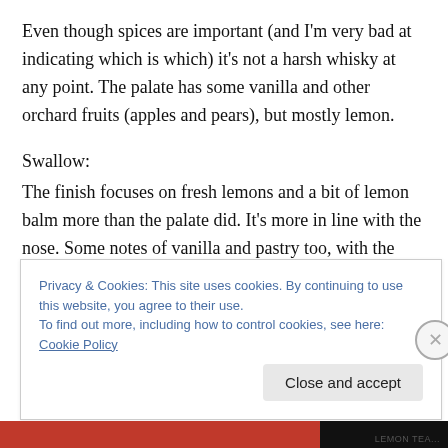Even though spices are important (and I'm very bad at indicating which is which) it's not a harsh whisky at any point. The palate has some vanilla and other orchard fruits (apples and pears), but mostly lemon.
Swallow:
The finish focuses on fresh lemons and a bit of lemon balm more than the palate did. It's more in line with the nose. Some notes of vanilla and pastry too, with the spices coming back after a couple of seconds. That rye whisky like thing again.
Privacy & Cookies: This site uses cookies. By continuing to use this website, you agree to their use. To find out more, including how to control cookies, see here: Cookie Policy